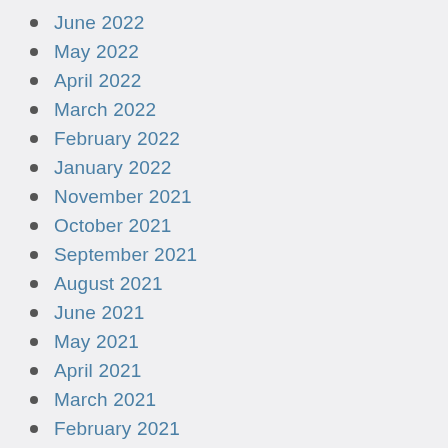June 2022
May 2022
April 2022
March 2022
February 2022
January 2022
November 2021
October 2021
September 2021
August 2021
June 2021
May 2021
April 2021
March 2021
February 2021
December 2020